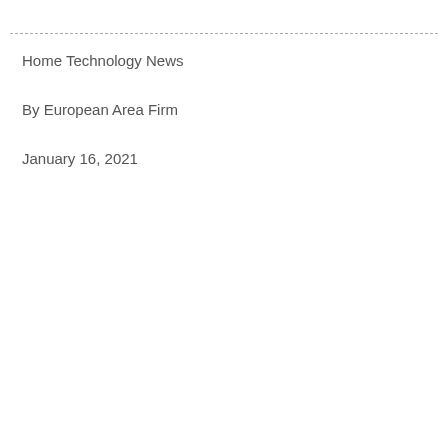Home Technology News
By European Area Firm
January 16, 2021